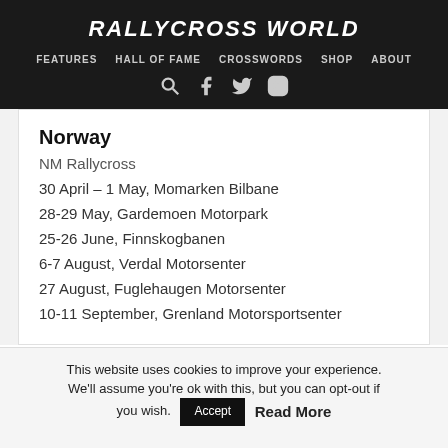RALLYCROSS WORLD
FEATURES   HALL OF FAME   CROSSWORDS   SHOP   ABOUT
Norway
NM Rallycross
30 April – 1 May, Momarken Bilbane
28-29 May, Gardemoen Motorpark
25-26 June, Finnskogbanen
6-7 August, Verdal Motorsenter
27 August, Fuglehaugen Motorsenter
10-11 September, Grenland Motorsportsenter
This website uses cookies to improve your experience. We'll assume you're ok with this, but you can opt-out if you wish.